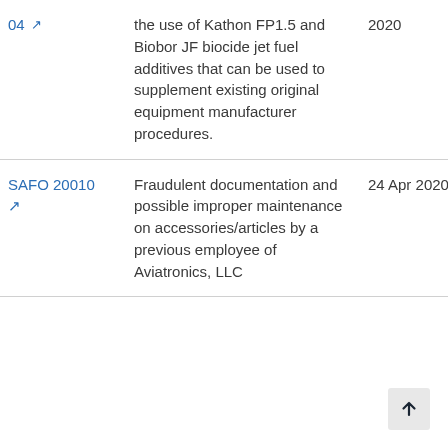| ID | Description | Date |
| --- | --- | --- |
| 04 [link] | the use of Kathon FP1.5 and Biobor JF biocide jet fuel additives that can be used to supplement existing original equipment manufacturer procedures. | 2020 |
| SAFO 20010 [link] | Fraudulent documentation and possible improper maintenance on accessories/articles by a previous employee of Aviatronics, LLC | 24 Apr 2020 |